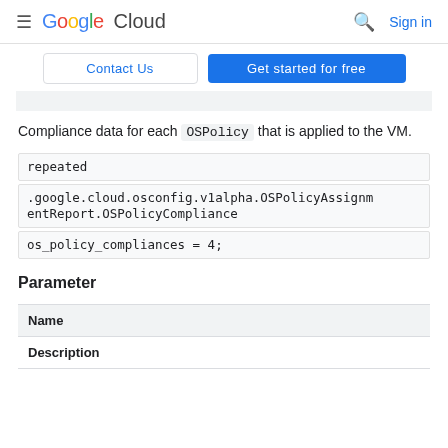Google Cloud  Sign in
Contact Us  Get started for free
Compliance data for each OSPolicy that is applied to the VM.
repeated
.google.cloud.osconfig.v1alpha.OSPolicyAssignmentReport.OSPolicyCompliance
os_policy_compliances = 4;
Parameter
| Name |
| --- |
| Description |